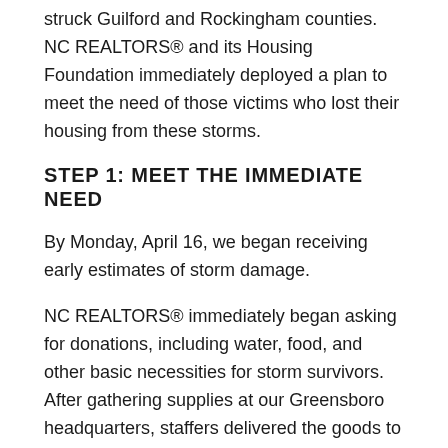struck Guilford and Rockingham counties. NC REALTORS® and its Housing Foundation immediately deployed a plan to meet the need of those victims who lost their housing from these storms.
STEP 1: MEET THE IMMEDIATE NEED
By Monday, April 16, we began receiving early estimates of storm damage.
NC REALTORS® immediately began asking for donations, including water, food, and other basic necessities for storm survivors. After gathering supplies at our Greensboro headquarters, staffers delivered the goods to temporary first responder shelters for victims.
At the same time, board members and staffers met to discuss the need for later stage mortgage and rental